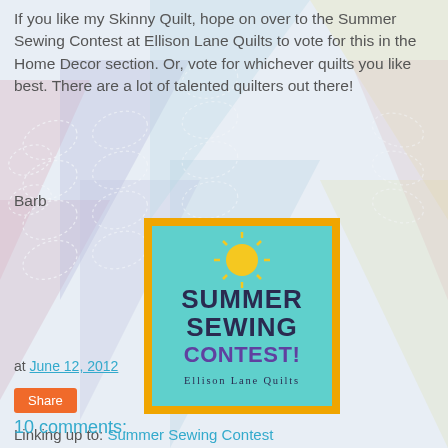If you like my Skinny Quilt, hope on over to the Summer Sewing Contest at Ellison Lane Quilts to vote for this in the Home Decor section. Or, vote for whichever quilts you like best. There are a lot of talented quilters out there!
Barb
[Figure (logo): Summer Sewing Contest badge from Ellison Lane Quilts — teal/cyan square with orange border, sun graphic at top, text reading SUMMER SEWING CONTEST! Ellison Lane Quilts]
Linking up to: Summer Sewing Contest
at June 12, 2012
Share
10 comments: